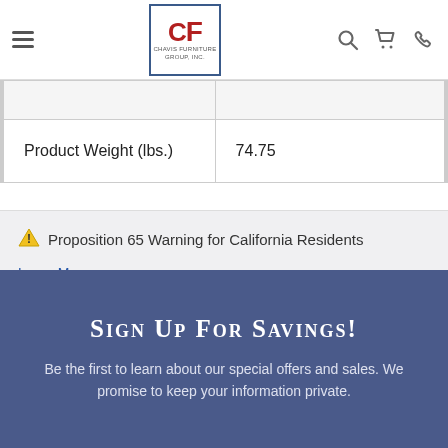Chavis Furniture — navigation bar with logo, search, cart, phone icons
|  |  |
| Product Weight (lbs.) | 74.75 |
⚠ Proposition 65 Warning for California Residents
Learn More
Sign Up For Savings!
Be the first to learn about our special offers and sales. We promise to keep your information private.